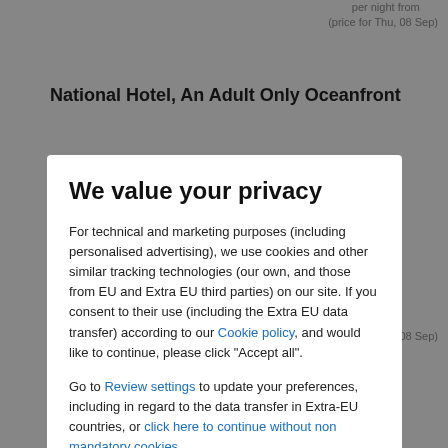per night from ... (price for Thu, 08 Sep)
National Hotel, An Adult Only Oceanfront
We value your privacy
For technical and marketing purposes (including personalised advertising), we use cookies and other similar tracking technologies (our own, and those from EU and Extra EU third parties) on our site. If you consent to their use (including the Extra EU data transfer) according to our Cookie policy, and would like to continue, please click "Accept all".
Go to Review settings to update your preferences, including in regard to the data transfer in Extra-EU countries, or click here to continue without non mandatory cookies.
ACCEPT ALL
(price for Thu, 08 Sep)
Kimpton SURFCOMBER HOTEL